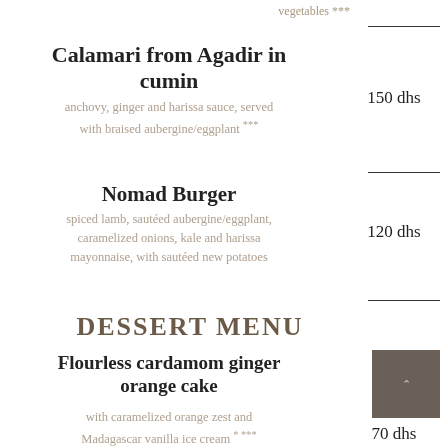vegetables ***
Calamari from Agadir in cumin
anchovy, ginger and harissa sauce, served with braised aubergine/eggplant ***
150 dhs
Nomad Burger
spiced lamb, sautéed aubergine/eggplant, caramelized onions, kale and harissa mayonnaise, with sautéed new potatoes
120 dhs
DESSERT MENU
Flourless cardamom ginger orange cake
[Figure (photo): Small dark square image of a cake slice]
with caramelized orange zest and Madagascar vanilla ice cream * ***
70 dhs